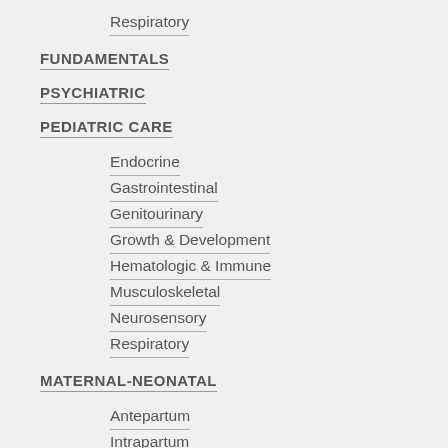Respiratory
FUNDAMENTALS
PSYCHIATRIC
PEDIATRIC CARE
Endocrine
Gastrointestinal
Genitourinary
Growth & Development
Hematologic & Immune
Musculoskeletal
Neurosensory
Respiratory
MATERNAL-NEONATAL
Antepartum
Intrapartum
Neonatal
NURSING SCIENCE